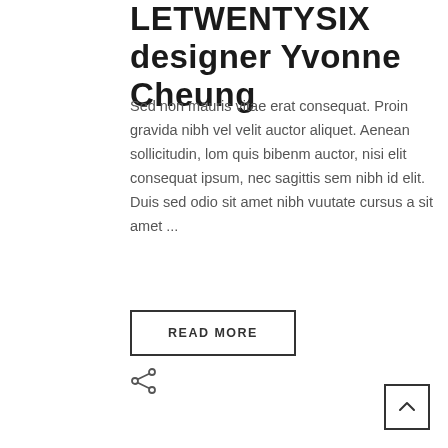LETWENTYSIX designer Yvonne Cheung
Sed non mauris vitae erat consequat. Proin gravida nibh vel velit auctor aliquet. Aenean sollicitudin, lom quis bibenm auctor, nisi elit consequat ipsum, nec sagittis sem nibh id elit. Duis sed odio sit amet nibh vuutate cursus a sit amet ...
READ MORE
[Figure (other): Share icon (less-than sign with two dots)]
[Figure (other): Back to top button with upward chevron arrow]